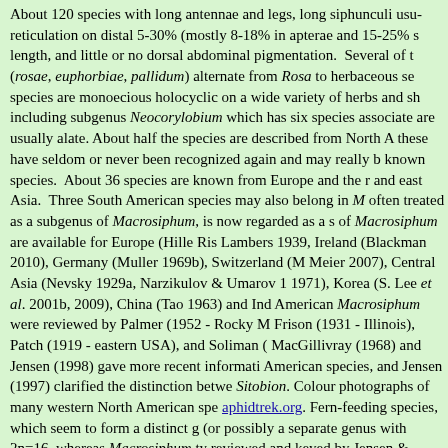About 120 species with long antennae and legs, long siphunculi usually with reticulation on distal 5-30% (mostly 8-18% in apterae and 15-25% in alatae) of length, and little or no dorsal abdominal pigmentation. Several of the species (rosae, euphorbiae, pallidum) alternate from Rosa to herbaceous secondary hosts; other species are monoecious holocyclic on a wide variety of herbs and shrubs, including subgenus Neocorylobium which has six species associated with Corylus and are usually alate. About half the species are described from North America, but these have seldom or never been recognized again and may really be synonyms of known species. About 36 species are known from Europe and the rest from north and east Asia. Three South American species may also belong in Macrosiphum. Illinoia, often treated as a subgenus of Macrosiphum, is now regarded as a separate genus. Keys of Macrosiphum are available for Europe (Hille Ris Lambers 1939, 1947a), Britain and Ireland (Blackman 2010), Germany (Muller 1969b), Switzerland (Müller 1986, Wyniger & Meier 2007), Central Asia (Nevsky 1929a, Narzikulov & Umarov 1969, Kadyrbekov 1971), Korea (S. Lee et al. 2001b, 2009), China (Tao 1963) and India. North American Macrosiphum were reviewed by Palmer (1952 - Rocky Mountain states), Frison (1931 - Illinois), Patch (1919 - eastern USA), and Soliman (1927). MacGillivray (1968) and Jensen (1998) gave more recent information on North American species, and Jensen (1997) clarified the distinction between Macrosiphum and Sitobion. Colour photographs of many western North American species are at aphidtrek.org. Fern-feeding species, which seem to form a distinct group within the genus (or possibly a separate genus with 2n=16, whereas Macrosiphum typically has 2n=18), were reviewed and keyed by Jensen & Holman (2000).
Macrosiphum adianti (Oestlund) (Fig.43f) Apterae are yellow, gr...